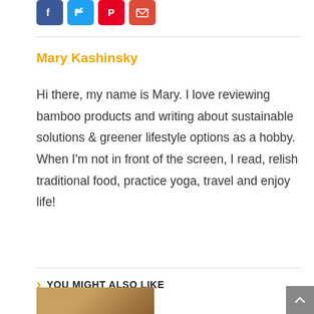[Figure (other): Social media sharing icons: Facebook (blue), Twitter (light blue), Pinterest (red), Email (red)]
Mary Kashinsky
Hi there, my name is Mary. I love reviewing bamboo products and writing about sustainable solutions & greener lifestyle options as a hobby. When I'm not in front of the screen, I read, relish traditional food, practice yoga, travel and enjoy life!
YOU MIGHT ALSO LIKE
[Figure (photo): Partial thumbnail image at bottom left]